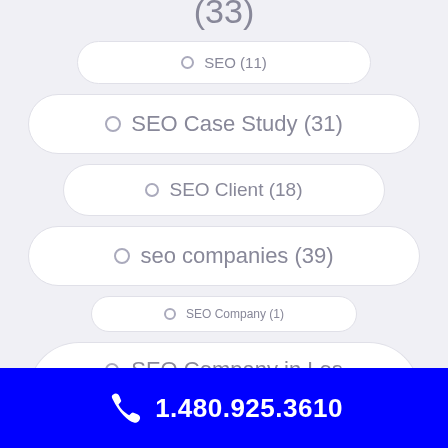(33)
SEO (11)
SEO Case Study (31)
SEO Client (18)
seo companies (39)
SEO Company (1)
SEO Company in Los
1.480.925.3610